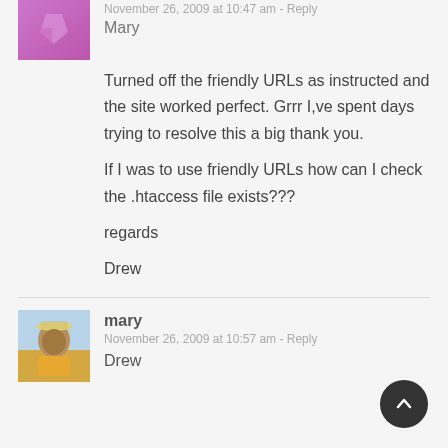November 26, 2009 at 10:47 am - Reply
Mary
Turned off the friendly URLs as instructed and the site worked perfect. Grrr I,ve spent days trying to resolve this a big thank you.

If I was to use friendly URLs how can I check the .htaccess file exists???

regards

Drew
mary
November 26, 2009 at 10:57 am - Reply
Drew